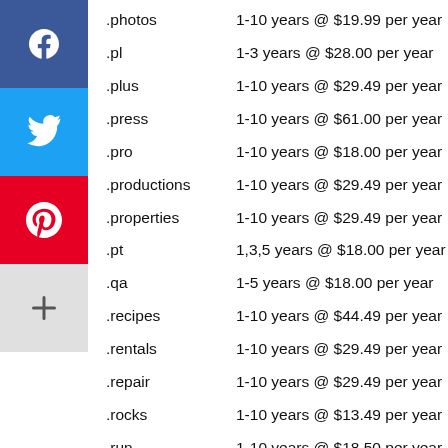.photos   1-10 years @ $19.99 per year
.pl   1-3 years @ $28.00 per year
.plus   1-10 years @ $29.49 per year
.press   1-10 years @ $61.00 per year
.pro   1-10 years @ $18.00 per year
.productions   1-10 years @ $29.49 per year
.properties   1-10 years @ $29.49 per year
.pt   1,3,5 years @ $18.00 per year
.qa   1-5 years @ $18.00 per year
.recipes   1-10 years @ $44.49 per year
.rentals   1-10 years @ $29.49 per year
.repair   1-10 years @ $29.49 per year
.rocks   1-10 years @ $13.49 per year
.run   1-10 years @ $18.50 per year
.sale   1-10 years @ $29.49 per year
.school   1-10 years @ $29.49 per year